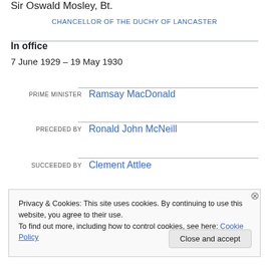Sir Oswald Mosley, Bt.
CHANCELLOR OF THE DUCHY OF LANCASTER
In office
7 June 1929 – 19 May 1930
PRIME MINISTER  Ramsay MacDonald
PRECEDED BY  Ronald John McNeill
SUCCEEDED BY  Clement Attlee
Privacy & Cookies: This site uses cookies. By continuing to use this website, you agree to their use.
To find out more, including how to control cookies, see here: Cookie Policy